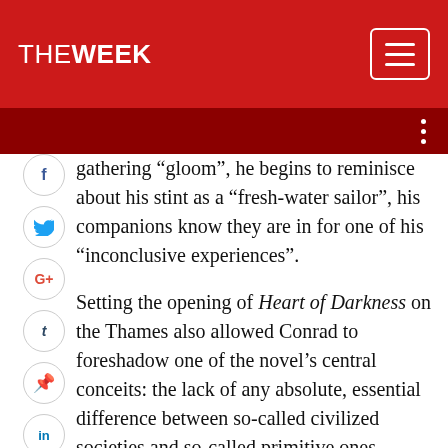THE WEEK
gathering “gloom”, he begins to reminisce about his stint as a “fresh-water sailor”, his companions know they are in for one of his “inconclusive experiences”.
Setting the opening of Heart of Darkness on the Thames also allowed Conrad to foreshadow one of the novel’s central conceits: the lack of any absolute, essential difference between so-called civilized societies and so-called primitive ones. “This, too”, Marlow says, “has been one of the dark places of the earth”, imagining the impressions of an ancient Roman soldier, arriving in what was then a